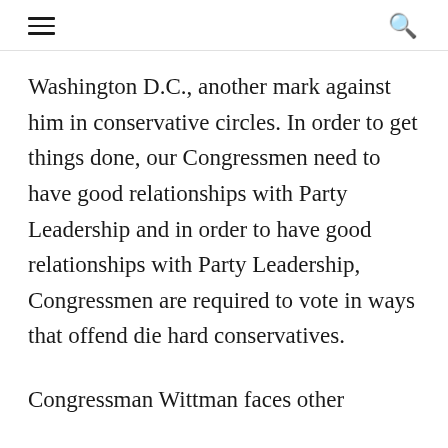☰  🔍
Washington D.C., another mark against him in conservative circles. In order to get things done, our Congressmen need to have good relationships with Party Leadership and in order to have good relationships with Party Leadership, Congressmen are required to vote in ways that offend die hard conservatives.
Congressman Wittman faces other